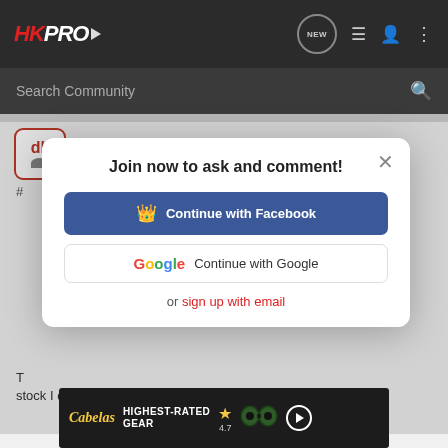HKPRO — navigation header with search bar
Chopstix Kid · Vendor  Joined Nov 17, 2007 · 8,239 Posts
#
[Figure (screenshot): Join now modal with Continue with Facebook and Continue with Google buttons, and sign up with email link]
T... stock I do not know
[Figure (infographic): Cabela's Highest-Rated Gear advertisement banner with 4.7 star rating]